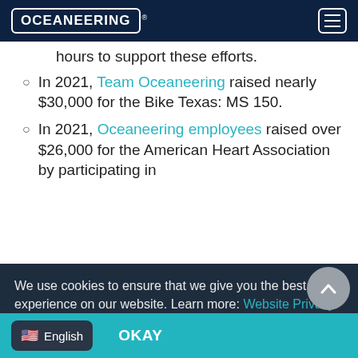OCEANEERING
hours to support these efforts.
In 2021, Team Oceaneering raised nearly $30,000 for the Bike Texas: MS 150.
In 2021, Oceaneering employees raised over $26,000 for the American Heart Association by participating in
We use cookies to ensure that we give you the best experience on our website. Learn more: Website Privacy and Cookies Policy | Don't want cookies? Click Here
OKAY
English